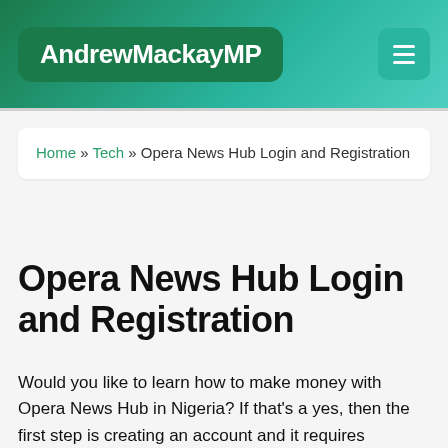AndrewMackayMP
Home » Tech » Opera News Hub Login and Registration
Opera News Hub Login and Registration
Would you like to learn how to make money with Opera News Hub in Nigeria? If that's a yes, then the first step is creating an account and it requires registration followed by